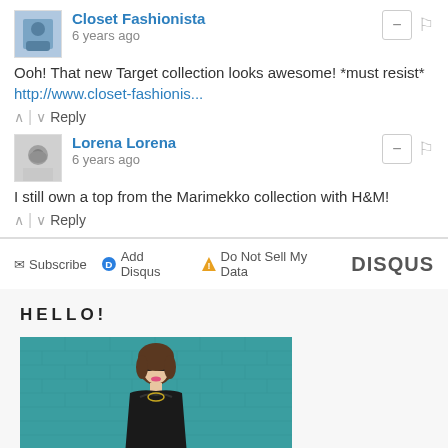Closet Fashionista
6 years ago
Ooh! That new Target collection looks awesome! *must resist*
http://www.closet-fashionis...
Reply
Lorena Lorena
6 years ago
I still own a top from the Marimekko collection with H&M!
Reply
Subscribe  Add Disqus  Do Not Sell My Data  DISQUS
HELLO!
[Figure (photo): Woman in black dress and sunglasses standing in front of a teal brick wall]